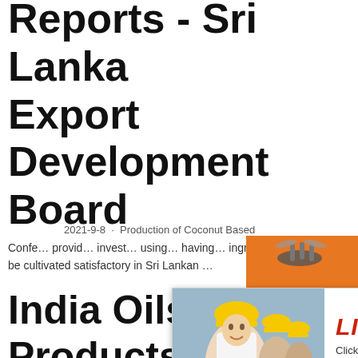Reports - Sri Lanka Export Development Board
2021-9-8 · Production of Coconut Based...
Confe... provid... invest... using... having... ingred... be cultivated satisfactory in Sri Lankan ...
[Figure (screenshot): Live Chat popup overlay with photo of workers in yellow hard hats, LIVE CHAT heading in red, Click for a Free Consultation text, Chat now and Chat later buttons]
[Figure (advertisement): Orange advertisement panel on right side showing mining/construction machinery, Enjoy 3% discount, Click to Chat, Enquiry button, and email limingjlmofen@sina.com]
India Oilseeds and Products Annual 2019